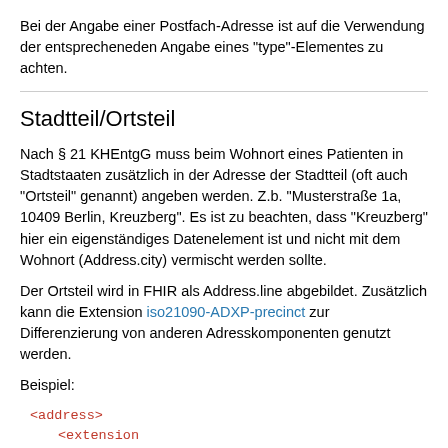Bei der Angabe einer Postfach-Adresse ist auf die Verwendung der entsprecheneden Angabe eines "type"-Elementes zu achten.
Stadtteil/Ortsteil
Nach § 21 KHEntgG muss beim Wohnort eines Patienten in Stadtstaaten zusätzlich in der Adresse der Stadtteil (oft auch "Ortsteil" genannt) angeben werden. Z.b. "Musterstraße 1a, 10409 Berlin, Kreuzberg". Es ist zu beachten, dass "Kreuzberg" hier ein eigenständiges Datenelement ist und nicht mit dem Wohnort (Address.city) vermischt werden sollte.
Der Ortsteil wird in FHIR als Address.line abgebildet. Zusätzlich kann die Extension iso21090-ADXP-precinct zur Differenzierung von anderen Adresskomponenten genutzt werden.
Beispiel:
<address>
    <extension url="http://hl7.org/fhir/StructureDefin
        <valueString value="Kreuzberg"/>
    </extension>
    <line value="Erlanger Allee 112"/>